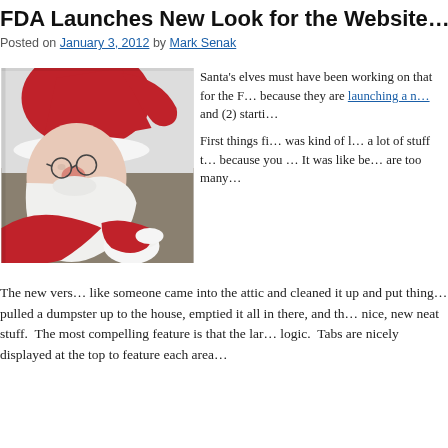FDA Launches New Look for the Website…
Posted on January 3, 2012 by Mark Senak
[Figure (photo): Close-up photo of a Santa Claus figure wearing a red hat and glasses, with a white beard, viewed from the side/below angle.]
Santa's elves must have been working on that for the FDA because they are launching a n… and (2) starti…
First things fi… was kind of l… a lot of stuff t… because you … It was like be… are too many…
The new vers… like someone came into the attic and cleaned it up and put thing… pulled a dumpster up to the house, emptied it all in there, and th… nice, new neat stuff. The most compelling feature is that the lar… logic. Tabs are nicely displayed at the top to feature each area…